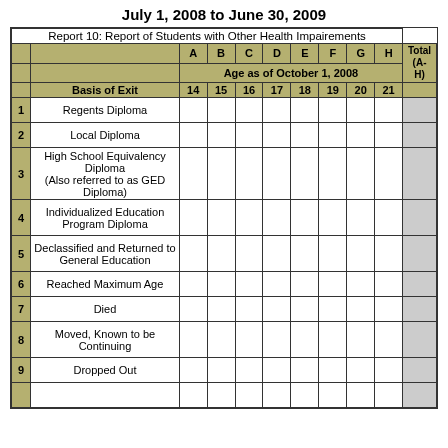July 1, 2008 to June 30, 2009
|  | Basis of Exit | A (14) | B (15) | C (16) | D (17) | E (18) | F (19) | G (20) | H (21) | I Total (A-H) |
| --- | --- | --- | --- | --- | --- | --- | --- | --- | --- | --- |
| 1 | Regents Diploma |  |  |  |  |  |  |  |  |  |
| 2 | Local Diploma |  |  |  |  |  |  |  |  |  |
| 3 | High School Equivalency Diploma (Also referred to as GED Diploma) |  |  |  |  |  |  |  |  |  |
| 4 | Individualized Education Program Diploma |  |  |  |  |  |  |  |  |  |
| 5 | Declassified and Returned to General Education |  |  |  |  |  |  |  |  |  |
| 6 | Reached Maximum Age |  |  |  |  |  |  |  |  |  |
| 7 | Died |  |  |  |  |  |  |  |  |  |
| 8 | Moved, Known to be Continuing |  |  |  |  |  |  |  |  |  |
| 9 | Dropped Out |  |  |  |  |  |  |  |  |  |